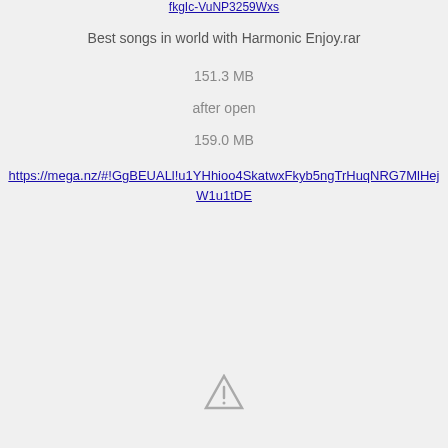fkgIc-VuNP3259Wxs
Best songs in world with Harmonic Enjoy.rar
151.3 MB
after open
159.0 MB
https://mega.nz/#!GgBEUALl!u1YHhioo4SkatwxFkyb5ngTrHuqNRG7MlHejW1u1tDE
[Figure (illustration): Warning triangle / caution icon]